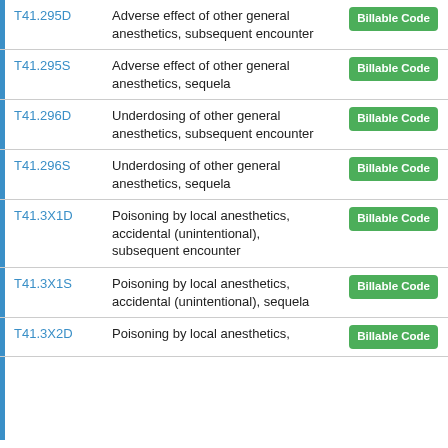| Code | Description | Type |
| --- | --- | --- |
| T41.295D | Adverse effect of other general anesthetics, subsequent encounter | Billable Code |
| T41.295S | Adverse effect of other general anesthetics, sequela | Billable Code |
| T41.296D | Underdosing of other general anesthetics, subsequent encounter | Billable Code |
| T41.296S | Underdosing of other general anesthetics, sequela | Billable Code |
| T41.3X1D | Poisoning by local anesthetics, accidental (unintentional), subsequent encounter | Billable Code |
| T41.3X1S | Poisoning by local anesthetics, accidental (unintentional), sequela | Billable Code |
| T41.3X2D | Poisoning by local anesthetics, | Billable Code |